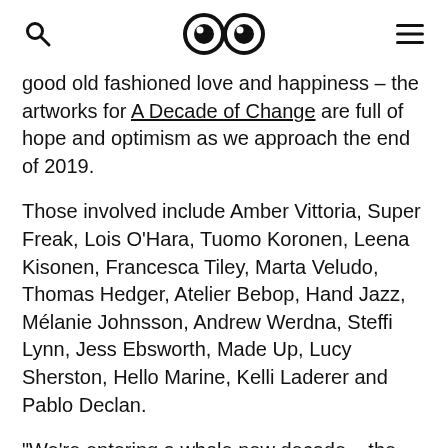[search icon] [eyes logo] [menu icon]
good old fashioned love and happiness – the artworks for A Decade of Change are full of hope and optimism as we approach the end of 2019.
Those involved include Amber Vittoria, Super Freak, Lois O'Hara, Tuomo Koronen, Leena Kisonen, Francesca Tiley, Marta Veludo, Thomas Hedger, Atelier Bebop, Hand Jazz, Mélanie Johnsson, Andrew Werdna, Steffi Lynn, Jess Ebsworth, Made Up, Lucy Sherston, Hello Marine, Kelli Laderer and Pablo Declan.
"We're entering a whole new decade – the perfect opportunity to create new goals and make exciting